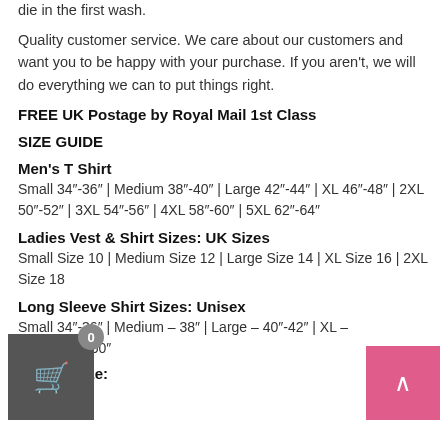die in the first wash.
Quality customer service. We care about our customers and want you to be happy with your purchase. If you aren't, we will do everything we can to put things right.
FREE UK Postage by Royal Mail 1st Class
SIZE GUIDE
Men's T Shirt
Small 34"-36" | Medium 38"-40" | Large 42"-44" | XL 46"-48" | 2XL 50"-52" | 3XL 54"-56" | 4XL 58"-60" | 5XL 62"-64"
Ladies Vest & Shirt Sizes: UK Sizes
Small Size 10 | Medium Size 12 | Large Size 14 | XL Size 16 | 2XL Size 18
Long Sleeve Shirt Sizes: Unisex
Small 34"-36" | Medium – 38" | Large – 40"-42" | XL – | 2XL – 48"-50"
Hoodie Size: